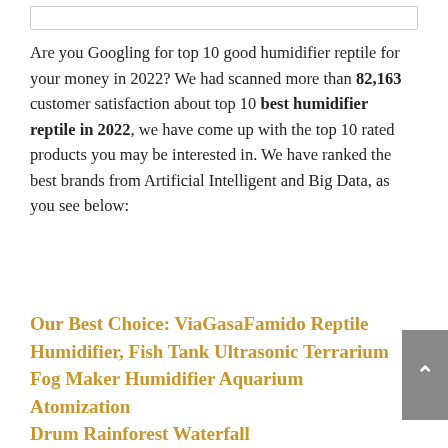Are you Googling for top 10 good humidifier reptile for your money in 2022? We had scanned more than 82,163 customer satisfaction about top 10 best humidifier reptile in 2022, we have come up with the top 10 rated products you may be interested in. We have ranked the best brands from Artificial Intelligent and Big Data, as you see below:
Our Best Choice: ViaGasaFamido Reptile Humidifier, Fish Tank Ultrasonic Terrarium Fog Maker Humidifier Aquarium Atomization Drum Rainforest Waterfall